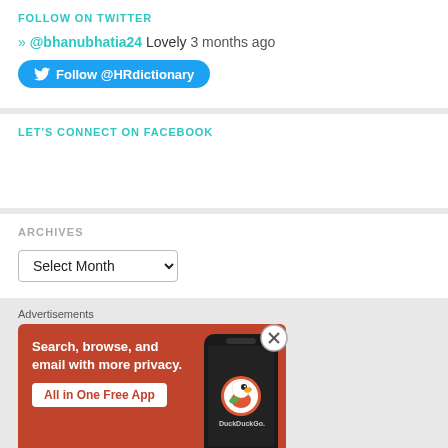FOLLOW ON TWITTER
» @bhanubhatia24 Lovely 3 months ago
[Figure (other): Blue Twitter Follow @HRdictionary button with bird icon]
LET'S CONNECT ON FACEBOOK
ARCHIVES
[Figure (other): Select Month dropdown widget]
Advertisements
[Figure (infographic): DuckDuckGo advertisement banner: Search, browse, and email with more privacy. All in One Free App. Orange background with phone image showing DuckDuckGo logo.]